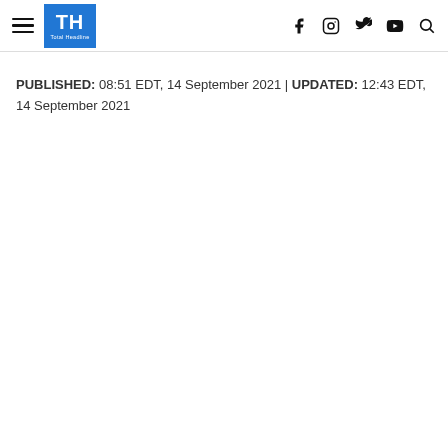TH Total Headline — navigation header with hamburger menu, logo, and social icons (Facebook, Instagram, Twitter, YouTube, Search)
PUBLISHED: 08:51 EDT, 14 September 2021 | UPDATED: 12:43 EDT, 14 September 2021